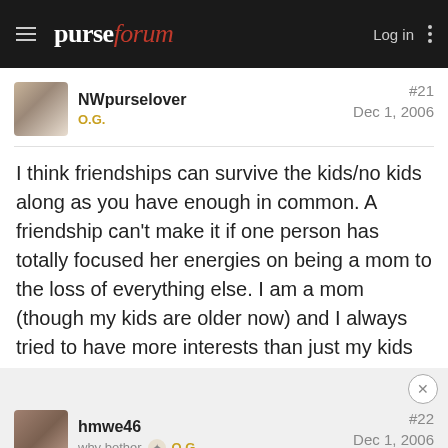purseforum  Log in
NWpurselover  O.G.  #21  Dec 1, 2006
I think friendships can survive the kids/no kids along as you have enough in common. A friendship can't make it if one person has totally focused her energies on being a mom to the loss of everything else. I am a mom (though my kids are older now) and I always tried to have more interests than just my kids for my own sanity.
hmwe46  why bother  O.G.  #22  Dec 1, 2006